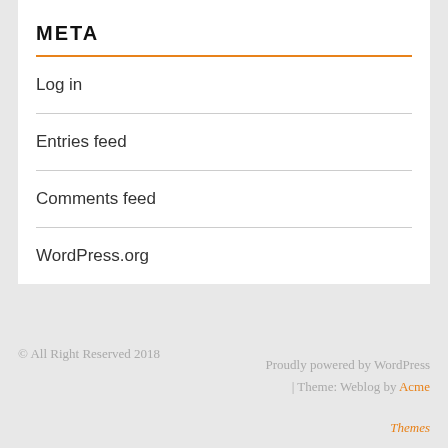META
Log in
Entries feed
Comments feed
WordPress.org
© All Right Reserved 2018   Proudly powered by WordPress | Theme: Weblog by Acme Themes